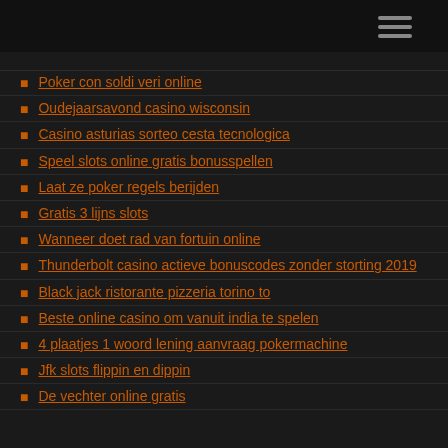Poker con soldi veri online
Oudejaarsavond casino wisconsin
Casino asturias sorteo cesta tecnologica
Speel slots online gratis bonusspellen
Laat ze poker regels berijden
Gratis 3 lijns slots
Wanneer doet rad van fortuin online
Thunderbolt casino actieve bonuscodes zonder storting 2019
Black jack ristorante pizzeria torino to
Beste online casino om vanuit india te spelen
4 plaatjes 1 woord lening aanvraag pokermachine
Jfk slots flippin en dippin
De vechter online gratis